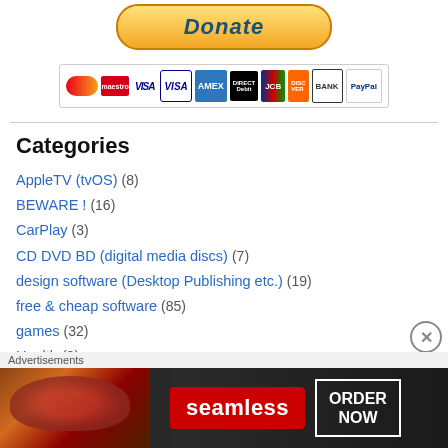[Figure (illustration): PayPal Donate button with golden gradient styling and the word Donate in italic blue text]
[Figure (illustration): Row of payment method logos: Mastercard, Maestro, VISA, VISA, American Express, Direct Debit, JCB, Discover, BANK, PayPal]
Categories
AppleTV (tvOS) (8)
BEWARE ! (16)
CarPlay (3)
CD DVD BD (digital media discs) (7)
design software (Desktop Publishing etc.) (19)
free & cheap software (85)
games (32)
Health (8)
Advertisements
[Figure (illustration): Seamless food delivery advertisement banner with pizza image, seamless logo in red, and ORDER NOW call to action]